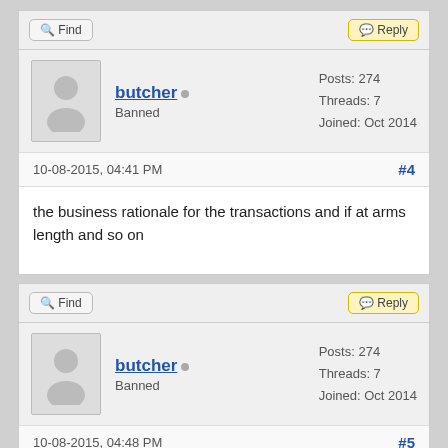[Figure (screenshot): Forum toolbar with Find and Reply buttons (top post #4)]
butcher   Banned   Posts: 274   Threads: 7   Joined: Oct 2014
10-08-2015, 04:41 PM   #4
the business rationale for the transactions and if at arms length and so on
[Figure (screenshot): Forum toolbar with Find and Reply buttons (bottom post #5)]
butcher   Banned   Posts: 274   Threads: 7   Joined: Oct 2014
10-08-2015, 04:48 PM   #5
dydy Wrote:   (07-08-2015, 01:06 PM)